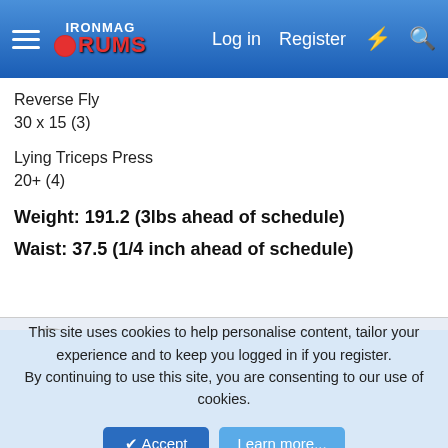IronMag Forums — Log in | Register
Reverse Fly
30 x 15 (3)
Lying Triceps Press
20+ (4)
Weight: 191.2 (3lbs ahead of schedule)
Waist: 37.5 (1/4 inch ahead of schedule)
yellowwmoomba
YM  Elite Member
Jan 18, 2018  #3,683
This site uses cookies to help personalise content, tailor your experience and to keep you logged in if you register.
By continuing to use this site, you are consenting to our use of cookies.